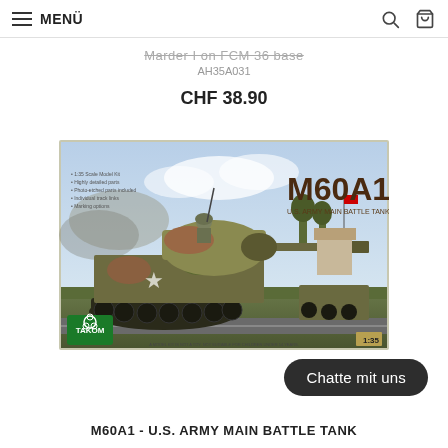MENÜ
Marder I on FCM 36 base
AH35A031
CHF 38.90
[Figure (photo): Takom model kit box art showing M60A1 U.S. Army Main Battle Tank, 1:35 scale. A realistic illustration of a camouflaged M60A1 tank with a soldier on top, moving through a battlefield scene. The Takom logo appears in the lower left corner.]
Chatte mit uns
M60A1 - U.S. ARMY MAIN BATTLE TANK